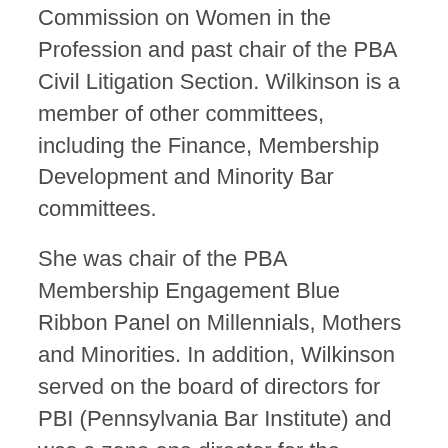Commission on Women in the Profession and past chair of the PBA Civil Litigation Section. Wilkinson is a member of other committees, including the Finance, Membership Development and Minority Bar committees.
She was chair of the PBA Membership Engagement Blue Ribbon Panel on Millennials, Mothers and Minorities. In addition, Wilkinson served on the board of directors for PBI (Pennsylvania Bar Institute) and was a zone one director for the PABAR-PAC, the PBA's political action committee, and co-chair of the 2007 PBA Midyear Meeting.
She is a Life Fellow of the Pennsylvania Bar Foundation, the charitable affiliate of the PBA, and previously served as the foundation's zone